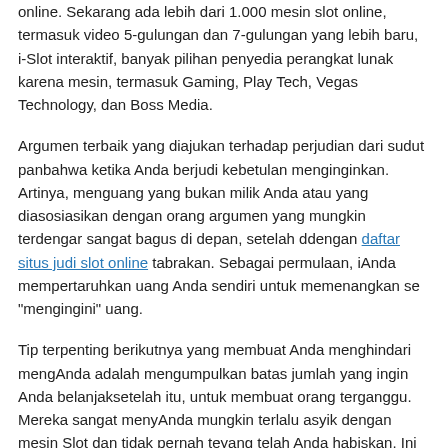online. Sekarang ada lebih dari 1.000 mesin slot online, termasuk video 5-gulungan dan 7-gulungan yang lebih baru, i-Slot interaktif, banyak pilihan penyedia perangkat lunak karena mesin, termasuk Gaming, Play Tech, Vegas Technology, dan Boss Media.
Argumen terbaik yang diajukan terhadap perjudian dari sudut pand bahwa ketika Anda berjudi kebetulan menginginkan. Artinya, meng uang yang bukan milik Anda atau yang diasosiasikan dengan orang argumen yang mungkin terdengar sangat bagus di depan, setelah d dengan daftar situs judi slot online tabrakan. Sebagai permulaan, i Anda mempertaruhkan uang Anda sendiri untuk memenangkan se "mengingini" uang.
Tip terpenting berikutnya yang membuat Anda menghindari meng Anda adalah mengumpulkan batas jumlah yang ingin Anda belanjah setelah itu, untuk membuat orang terganggu. Mereka sangat meny Anda mungkin terlalu asyik dengan mesin Slot dan tidak pernah te yang telah Anda habiskan. Ini masih kesalahan besar. Harus ada ba pasti akan Anda keluarkan, saat menggunakan Anda mencapai bata kontrol diri yang cukup untuk melanjutkan. Dan ingat, kemenangan disebutkan sebelumnya, harus dibagi dengan anggaran ini.